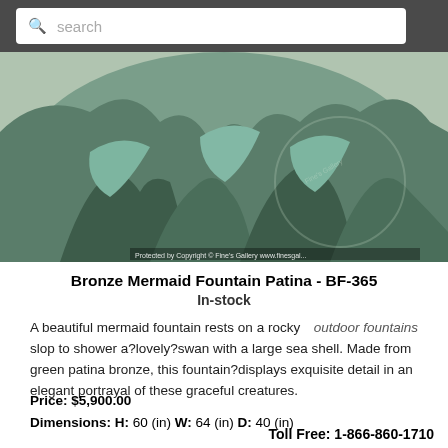search
[Figure (photo): Bronze mermaid fountain with green patina, resting on rocky base. Close-up showing detailed textured surface. Watermark: Protected by Copyright © Fine's Gallery www.finesgal...]
Bronze Mermaid Fountain Patina - BF-365
In-stock
A beautiful mermaid fountain rests on a rocky slop to shower a?lovely?swan with a large sea shell. Made from green patina bronze, this fountain?displays exquisite detail in an elegant portrayal of these graceful creatures.    outdoor fountains
Price: $5,900.00
Dimensions:  H: 60 (in) W: 64 (in) D: 40 (in)
Toll Free: 1-866-860-1710